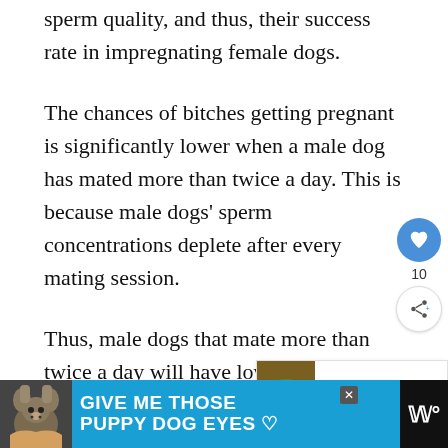sperm quality, and thus, their success rate in impregnating female dogs.
The chances of bitches getting pregnant is significantly lower when a male dog has mated more than twice a day. This is because male dogs’ sperm concentrations deplete after every mating session.
Thus, male dogs that mate more than twice a day will have lower sperm counts. This lowers the chances of pregnancy in female do...
[Figure (other): Social share UI: blue heart button with count 10 and share icon button]
[Figure (other): What's Next widget showing lizard image with text: WHAT'S NEXT, How Do Lizards Mate...]
[Figure (other): Advertisement banner: teal background with dog image, text GIVE ME THOSE PUPPY DOG EYES with heart icon, close button X, and media logo]